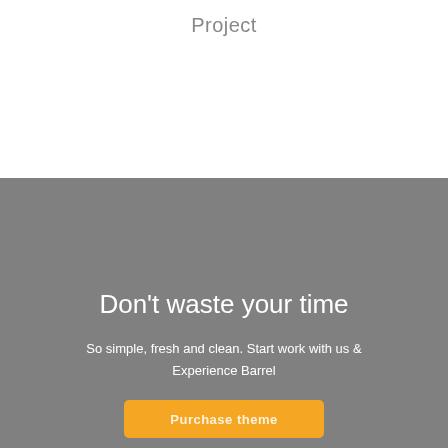Project
Don't waste your time
So simple, fresh and clean. Start work with us & Experience Barrel
Purchase theme